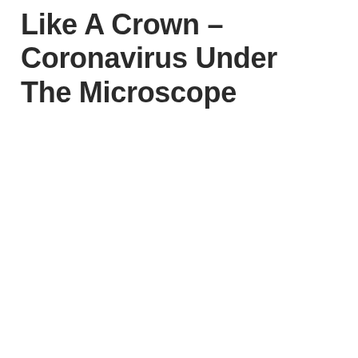Like A Crown – Coronavirus Under The Microscope